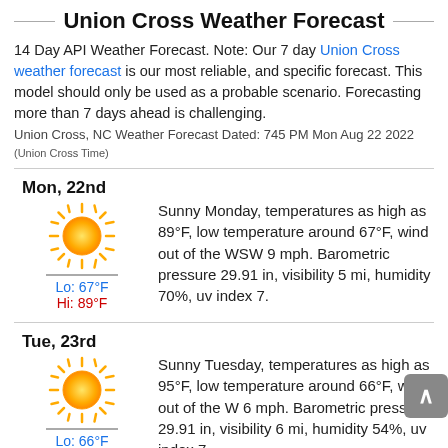Union Cross Weather Forecast
14 Day API Weather Forecast. Note: Our 7 day Union Cross weather forecast is our most reliable, and specific forecast. This model should only be used as a probable scenario. Forecasting more than 7 days ahead is challenging.
Union Cross, NC Weather Forecast Dated: 745 PM Mon Aug 22 2022 (Union Cross Time)
Mon, 22nd
Sunny Monday, temperatures as high as 89°F, low temperature around 67°F, wind out of the WSW 9 mph. Barometric pressure 29.91 in, visibility 5 mi, humidity 70%, uv index 7.
Lo: 67°F
Hi: 89°F
Tue, 23rd
Sunny Tuesday, temperatures as high as 95°F, low temperature around 66°F, wind out of the W 6 mph. Barometric pressure 29.91 in, visibility 6 mi, humidity 54%, uv index 7.
Lo: 66°F